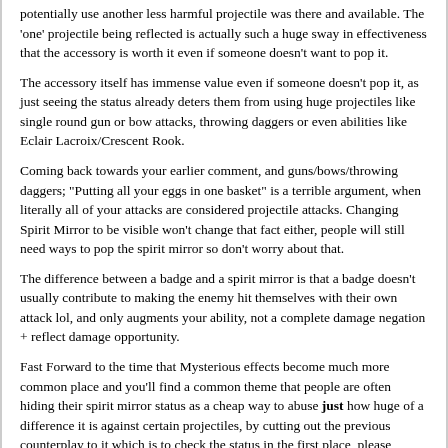potentially use another less harmful projectile was there and available. The 'one' projectile being reflected is actually such a huge sway in effectiveness that the accessory is worth it even if someone doesn't want to pop it.
The accessory itself has immense value even if someone doesn't pop it, as just seeing the status already deters them from using huge projectiles like single round gun or bow attacks, throwing daggers or even abilities like Eclair Lacroix/Crescent Rook.
Coming back towards your earlier comment, and guns/bows/throwing daggers; "Putting all your eggs in one basket" is a terrible argument, when literally all of your attacks are considered projectile attacks. Changing Spirit Mirror to be visible won't change that fact either, people will still need ways to pop the spirit mirror so don't worry about that.
The difference between a badge and a spirit mirror is that a badge doesn't usually contribute to making the enemy hit themselves with their own attack lol, and only augments your ability, not a complete damage negation + reflect damage opportunity.
Fast Forward to the time that Mysterious effects become much more common place and you'll find a common theme that people are often hiding their spirit mirror status as a cheap way to abuse just how huge of a difference it is against certain projectiles, by cutting out the previous counterplay to it which is to check the status in the first place, please consider all of these points before blindly stating anything about counterplay.